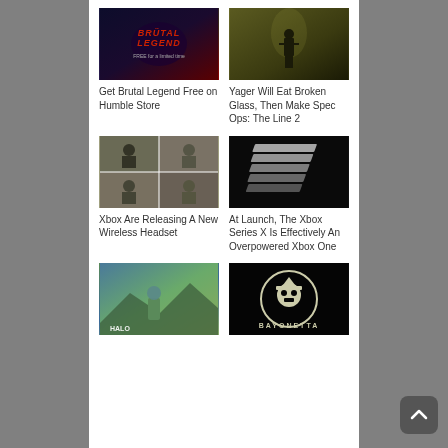[Figure (screenshot): Brutal Legend game promotional image with dark fantasy art and text 'Brutal Legend FREE for a limited time']
Get Brutal Legend Free on Humble Store
[Figure (screenshot): Dark atmospheric screenshot of a soldier silhouette walking in a dim environment - Spec Ops: The Line]
Yager Will Eat Broken Glass, Then Make Spec Ops: The Line 2
[Figure (photo): Collage of people wearing headsets in various settings]
Xbox Are Releasing A New Wireless Headset
[Figure (photo): Exploded diagram of Xbox Series X hardware layers on black background]
At Launch, The Xbox Series X Is Effectively An Overpowered Xbox One
[Figure (screenshot): Halo Infinite game artwork showing Master Chief in scenic landscape]
[Figure (screenshot): Bayonetta logo on black background with witch hat skull icon]